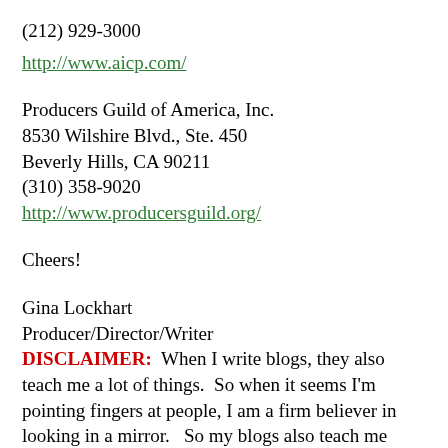(212) 929-3000
http://www.aicp.com/
Producers Guild of America, Inc.
8530 Wilshire Blvd., Ste. 450
Beverly Hills, CA 90211
(310) 358-9020
http://www.producersguild.org/
Cheers!
Gina Lockhart
Producer/Director/Writer
DISCLAIMER:  When I write blogs, they also teach me a lot of things.  So when it seems I'm pointing fingers at people, I am a firm believer in looking in a mirror.   So my blogs also teach me things to better myself as a human being above all, to keep me from being an egotistical narcissistic nightmare, a better